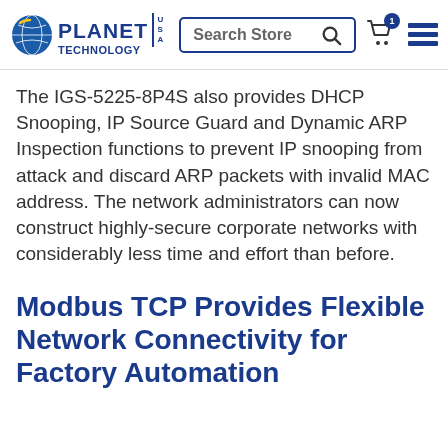[Figure (logo): Planet Technology USA logo with globe icon, blue text, and search bar with cart and hamburger menu]
The IGS-5225-8P4S also provides DHCP Snooping, IP Source Guard and Dynamic ARP Inspection functions to prevent IP snooping from attack and discard ARP packets with invalid MAC address. The network administrators can now construct highly-secure corporate networks with considerably less time and effort than before.
Modbus TCP Provides Flexible Network Connectivity for Factory Automation